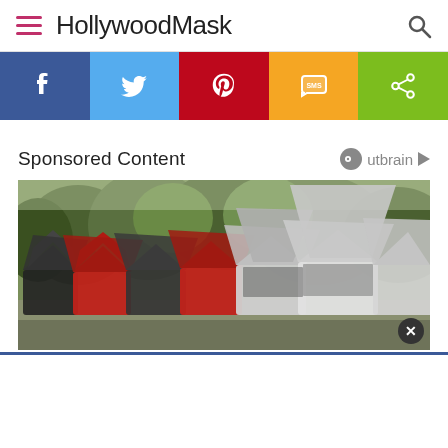HollywoodMask
[Figure (screenshot): Social sharing bar with Facebook, Twitter, Pinterest, SMS, and Share buttons]
Sponsored Content
[Figure (photo): Row of SUVs with open trunks/tailgates lined up outdoors with trees in background]